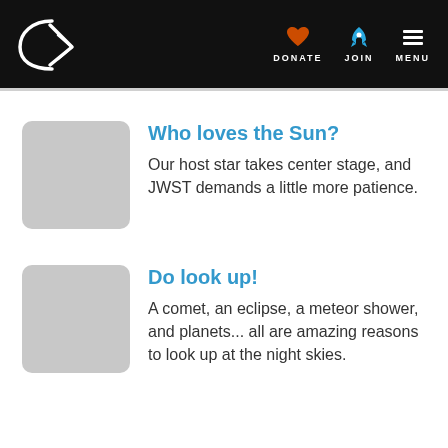DONATE JOIN MENU
Who loves the Sun?
Our host star takes center stage, and JWST demands a little more patience.
Do look up!
A comet, an eclipse, a meteor shower, and planets... all are amazing reasons to look up at the night skies.